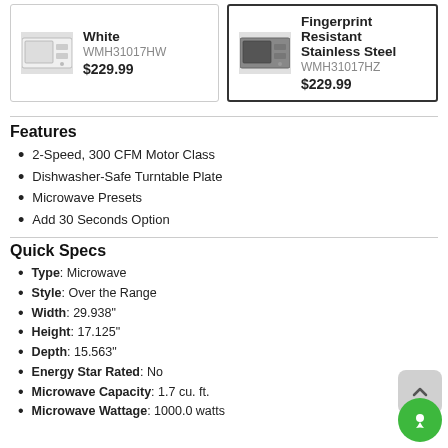[Figure (other): Product card: White microwave WMH31017HW $229.99]
[Figure (other): Product card: Fingerprint Resistant Stainless Steel microwave WMH31017HZ $229.99]
Features
2-Speed, 300 CFM Motor Class
Dishwasher-Safe Turntable Plate
Microwave Presets
Add 30 Seconds Option
Quick Specs
Type: Microwave
Style: Over the Range
Width: 29.938"
Height: 17.125"
Depth: 15.563"
Energy Star Rated: No
Microwave Capacity: 1.7 cu. ft.
Microwave Wattage: 1000.0 watts